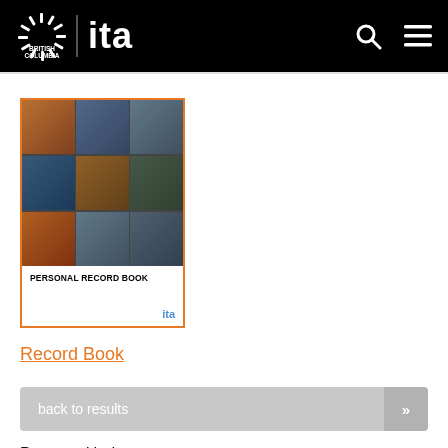British Columbia ITA
[Figure (illustration): Personal Record Book cover with photo collage of various trades workers and an orange border, showing 'PERSONAL RECORD BOOK' text and 'ita' logo at bottom right]
Record Book
back to results »
Program Updates: